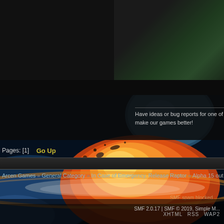[Figure (screenshot): Website screenshot showing dark background with green texture top right, planetary explosion/impact background image in lower half, forum navigation elements and footer]
Have ideas or bug reports for one of our games?  Ma... make our games better!
Pages: [1]  Go Up
Arcen Games » General Category » In Case of Emergency, Release Raptor » Alpha 15 out
SMF spam blocked
SMF 2.0.17 | SMF © 2019, Simple M...
XHTML   RSS   WAP2